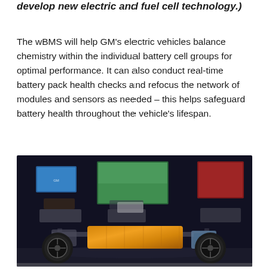develop new electric and fuel cell technology.)
The wBMS will help GM's electric vehicles balance chemistry within the individual battery cell groups for optimal performance. It can also conduct real-time battery pack health checks and refocus the network of modules and sensors as needed – this helps safeguard battery health throughout the vehicle's lifespan.
[Figure (photo): Display showing GM electric vehicle platform with battery pack (copper/gold colored rectangular module) in the center, four large wheels at corners, motor/drivetrain components, and display screens showing vehicle lifestyle images in the background on a dark stage.]